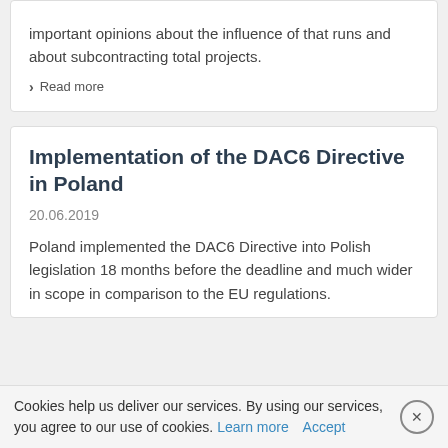important opinions about the influence of that runs and about subcontracting total projects.
› Read more
Implementation of the DAC6 Directive in Poland
20.06.2019
Poland implemented the DAC6 Directive into Polish legislation 18 months before the deadline and much wider in scope in comparison to the EU regulations.
Cookies help us deliver our services. By using our services, you agree to our use of cookies. Learn more Accept